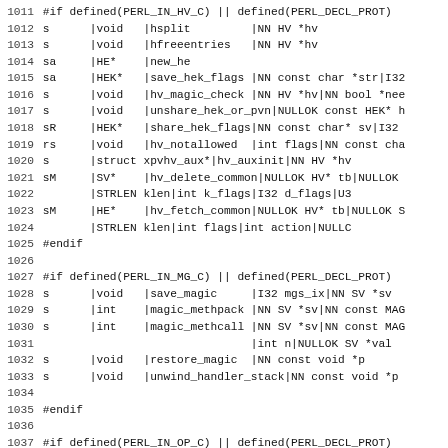1011 #if defined(PERL_IN_HV_C) || defined(PERL_DECL_PROT)
1012 s      |void   |hsplit         |NN HV *hv
1013 s      |void   |hfreeentries   |NN HV *hv
1014 sa     |HE*    |new_he
1015 sa     |HEK*   |save_hek_flags |NN const char *str|I32
1016 s      |void   |hv_magic_check |NN HV *hv|NN bool *nee
1017 s      |void   |unshare_hek_or_pvn|NULLOK const HEK* h
1018 sR     |HEK*   |share_hek_flags|NN const char* sv|I32
1019 rs     |void   |hv_notallowed   |int flags|NN const cha
1020 s      |struct xpvhv_aux*|hv_auxinit|NN HV *hv
1021 sM     |SV*    |hv_delete_common|NULLOK HV* tb|NULLOK
1022        |STRLEN klen|int k_flags|I32 d_flags|U3
1023 sM     |HE*    |hv_fetch_common|NULLOK HV* tb|NULLOK S
1024        |STRLEN klen|int flags|int action|NULLC
1025 #endif
1026
1027 #if defined(PERL_IN_MG_C) || defined(PERL_DECL_PROT)
1028 s      |void   |save_magic      |I32 mgs_ix|NN SV *sv
1029 s      |int    |magic_methpack  |NN SV *sv|NN const MAG
1030 s      |int    |magic_methcall  |NN SV *sv|NN const MAG
1031        |int n|NULLOK SV *val
1032 s      |void   |restore_magic   |NN const void *p
1033 s      |void   |unwind_handler_stack|NN const void *p
1034
1035 #endif
1036
1037 #if defined(PERL_IN_OP_C) || defined(PERL_DECL_PROT)
1038 pR     |OP*    |ck_anoncode    |NN OP *o
1039 pR     |OP*    |ck_bitop       |NN OP *o
1040 pR     |OP*    |ck_concat      |NN OP *o
1041 pR     |OP*    |ck_defined     |NN OP *o
1042 pR     |OP*    |ck_delete      |NN OP *o